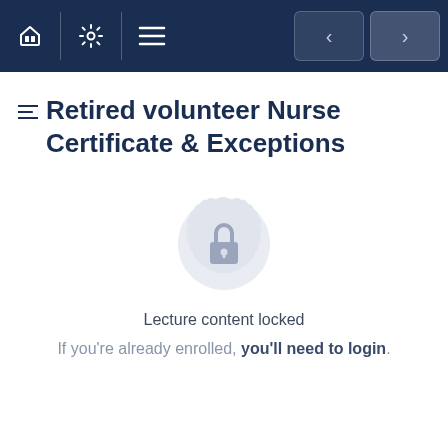Navigation bar with home, settings, menu icons and back/forward arrows
Retired volunteer Nurse Certificate & Exceptions
[Figure (illustration): A circular badge/seal icon with a padlock in the center, rendered in light gray, indicating locked content]
Lecture content locked
If you're already enrolled, you'll need to login.